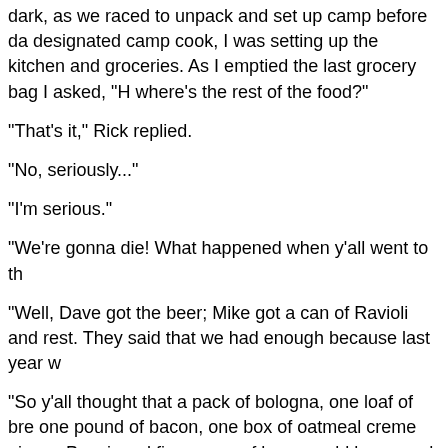dark, as we raced to unpack and set up camp before da designated camp cook, I was setting up the kitchen and groceries. As I emptied the last grocery bag I asked, "H where's the rest of the food?"
"That's it," Rick replied.
"No, seriously..."
"I'm serious."
"We're gonna die! What happened when y'all went to th
"Well, Dave got the beer; Mike got a can of Ravioli and rest. They said that we had enough because last year w
"So y'all thought that a pack of bologna, one loaf of bre one pound of bacon, one box of oatmeal creme pies, a Pepsi, and five cases of beer would be enough to feed all week?!"
"Don't forget the ravioli."